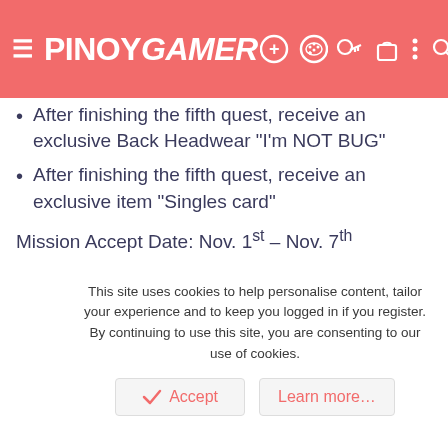PINOYGAMER
After finishing the fifth quest, receive an exclusive Back Headwear "I'm NOT BUG"
After finishing the fifth quest, receive an exclusive item "Singles card"
Mission Accept Date: Nov. 1st – Nov. 7th
Mission Finish Date: Nov. 1st – Nov. 14th
Event 2: Designer and Operator Battle
Items in Event Merchant will all be 50% off
The items without purchase limits, you can
This site uses cookies to help personalise content, tailor your experience and to keep you logged in if you register. By continuing to use this site, you are consenting to our use of cookies.